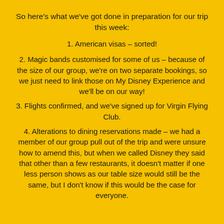So here's what we've got done in preparation for our trip this week:
1. American visas – sorted!
2. Magic bands customised for some of us – because of the size of our group, we're on two separate bookings, so we just need to link those on My Disney Experience and we'll be on our way!
3. Flights confirmed, and we've signed up for Virgin Flying Club.
4. Alterations to dining reservations made – we had a member of our group pull out of the trip and were unsure how to amend this, but when we called Disney they said that other than a few restaurants, it doesn't matter if one less person shows as our table size would still be the same, but I don't know if this would be the case for everyone.